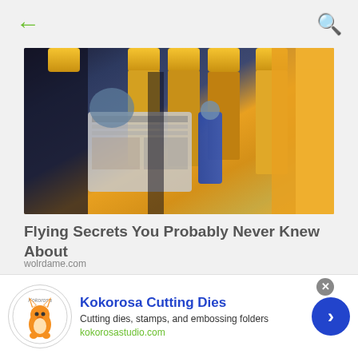← (back) | 🔍 (search)
[Figure (photo): Interior of an airplane cabin with yellow headrests and seats; a passenger reading a newspaper is visible in the foreground; a flight attendant in a blue dress is visible in the background aisle.]
Flying Secrets You Probably Never Knew About
wolrdame.com
[Figure (photo): Close-up photo of a tabby cat, brown and striped fur, lying or looking upward, showing the top of its head and ears.]
Kokorosa Cutting Dies
Cutting dies, stamps, and embossing folders
kokorosastudio.com